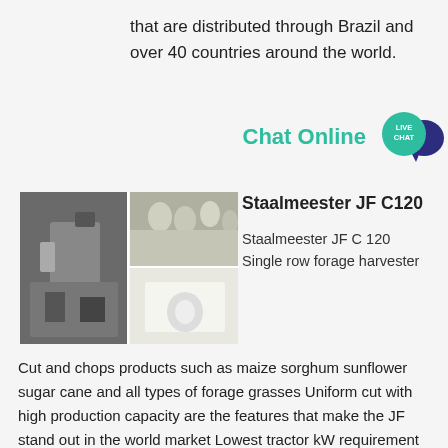that are distributed through Brazil and over 40 countries around the world.
[Figure (other): Chat Online live chat button with teal text and speech bubble icon]
[Figure (photo): Photo collage of Staalmeester JF C120 forage harvester machinery]
Staalmeester JF C120
Staalmeester JF C 120 Single row forage harvester
Cut and chops products such as maize sorghum sunflower sugar cane and all types of forage grasses Uniform cut with high production capacity are the features that make the JF stand out in the world market Lowest tractor kW requirement on the market A variety of header units available.